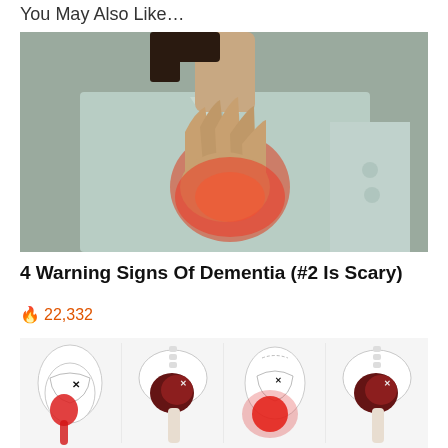You May Also Like…
[Figure (photo): Woman clutching chest/throat area with glowing red hand indicating pain, wearing a light blue collared shirt]
4 Warning Signs Of Dementia (#2 Is Scary)
🔥 22,332
[Figure (illustration): Medical illustration showing four views of the hip/pelvis area with red highlighted pain zones and anatomical skeletal overlays]